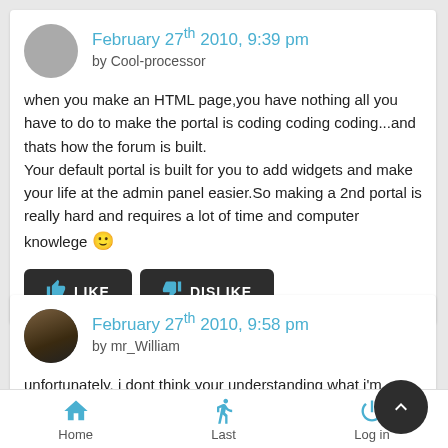February 27th 2010, 9:39 pm
by Cool-processor
when you make an HTML page,you have nothing all you have to do to make the portal is coding coding coding...and thats how the forum is built.
Your default portal is built for you to add widgets and make your life at the admin panel easier.So making a 2nd portal is really hard and requires a lot of time and computer knowlege 🙂
LIKE   DISLIKE
February 27th 2010, 9:58 pm
by mr_William
unfortunately, i dont think your understanding what i'm trying to do...
Home   Last   Log in